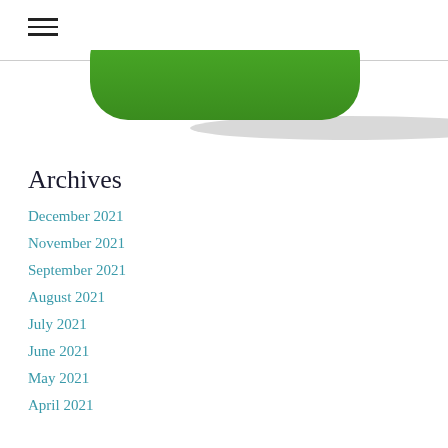≡ (hamburger menu icon)
[Figure (illustration): Green rounded rectangle button shape, partially visible at the top of the content area]
Archives
December 2021
November 2021
September 2021
August 2021
July 2021
June 2021
May 2021
April 2021
March 2021
February 2021
January 2021
December 2020